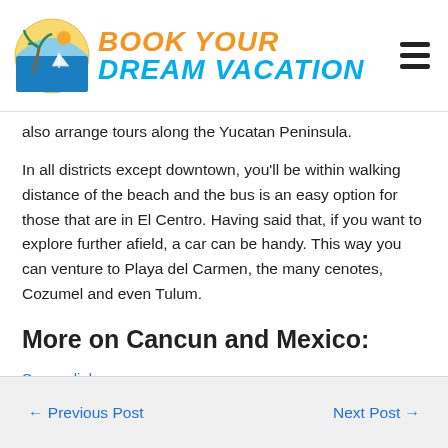BOOK YOUR DREAM VACATION
also arrange tours along the Yucatan Peninsula.
In all districts except downtown, you'll be within walking distance of the beach and the bus is an easy option for those that are in El Centro. Having said that, if you want to explore further afield, a car can be handy. This way you can venture to Playa del Carmen, the many cenotes, Cozumel and even Tulum.
More on Cancun and Mexico:
Source link
← Previous Post   Next Post →